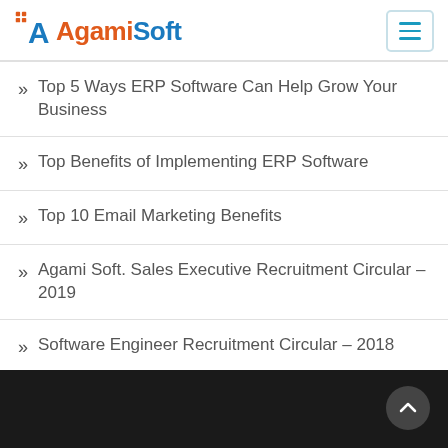AgamiSoft
Top 5 Ways ERP Software Can Help Grow Your Business
Top Benefits of Implementing ERP Software
Top 10 Email Marketing Benefits
Agami Soft. Sales Executive Recruitment Circular – 2019
Software Engineer Recruitment Circular – 2018